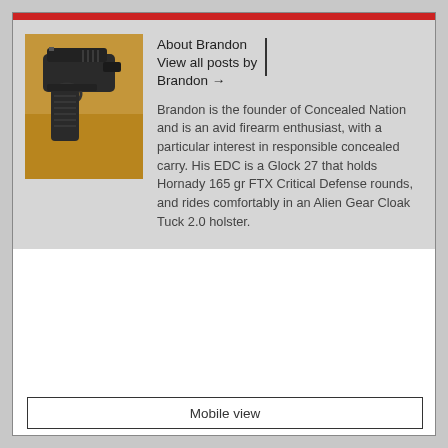[Figure (photo): Photo of a dark handgun (pistol) resting on a wooden surface, close-up view showing the slide and trigger area.]
About Brandon | View all posts by Brandon →
Brandon is the founder of Concealed Nation and is an avid firearm enthusiast, with a particular interest in responsible concealed carry. His EDC is a Glock 27 that holds Hornady 165 gr FTX Critical Defense rounds, and rides comfortably in an Alien Gear Cloak Tuck 2.0 holster.
Mobile view